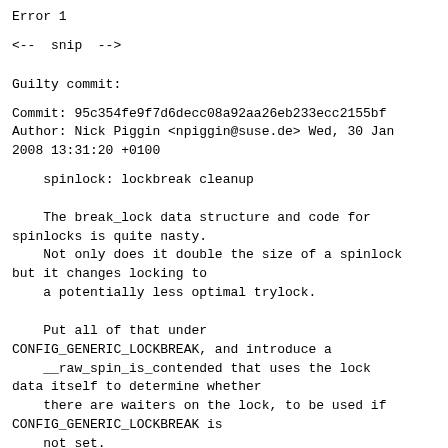Error 1
<--  snip  -->
Guilty commit:
Commit: 95c354fe9f7d6decc08a92aa26eb233ecc2155bf
Author: Nick Piggin <npiggin@suse.de> Wed, 30 Jan 2008 13:31:20 +0100
spinlock: lockbreak cleanup

    The break_lock data structure and code for
spinlocks is quite nasty.
    Not only does it double the size of a spinlock
but it changes locking to
    a potentially less optimal trylock.

    Put all of that under
CONFIG_GENERIC_LOCKBREAK, and introduce a
    __raw_spin_is_contended that uses the lock
data itself to determine whether
    there are waiters on the lock, to be used if
CONFIG_GENERIC_LOCKBREAK is
    not set.

    Rename need_lockbreak to spin_needbreak, make
it use spin_is_contended to
    decouple it from the spinlock implementation,
and make it typesafe (rwlocks...